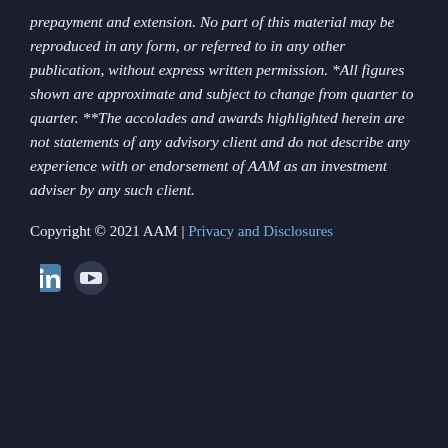prepayment and extension. No part of this material may be reproduced in any form, or referred to in any other publication, without express written permission. *All figures shown are approximate and subject to change from quarter to quarter. **The accolades and awards highlighted herein are not statements of any advisory client and do not describe any experience with or endorsement of AAM as an investment adviser by any such client.
Copyright © 2021 AAM | Privacy and Disclosures
[Figure (other): Social media icons: LinkedIn (partially visible) and YouTube]